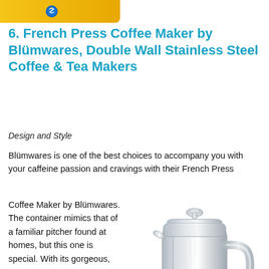[Figure (logo): Yellow/gold banner logo in top left corner]
6. French Press Coffee Maker by Blümwares, Double Wall Stainless Steel Coffee & Tea Makers
Design and Style
Blümwares is one of the best choices to accompany you with your caffeine passion and cravings with their French Press Coffee Maker by Blümwares. The container mimics that of a familiar pitcher found at homes, but this one is special. With its gorgeous,
[Figure (photo): Stainless steel French press coffee maker with double wall, shiny chrome finish, with handle and knob lid]